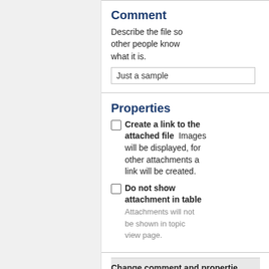Comment
Describe the file so other people know what it is.
Just a sample
Properties
Create a link to the attached file  Images will be displayed, for other attachments a link will be created.
Do not show attachment in table  Attachments will not be shown in topic view page.
Change comment and propertie